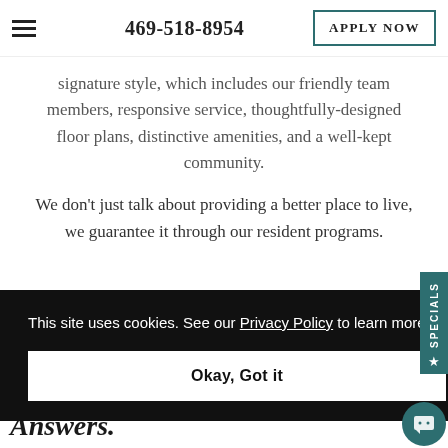469-518-8954  APPLY NOW
signature style, which includes our friendly team members, responsive service, thoughtfully-designed floor plans, distinctive amenities, and a well-kept community.
We don't just talk about providing a better place to live, we guarantee it through our resident programs.
This site uses cookies. See our Privacy Policy to learn more.
Okay, Got it
Answers.